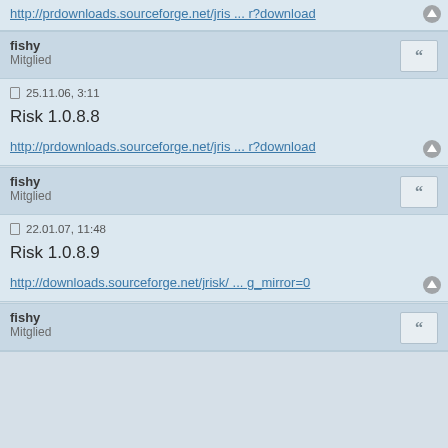http://prdownloads.sourceforge.net/jris ... r?download
fishy
Mitglied
25.11.06, 3:11
Risk 1.0.8.8
http://prdownloads.sourceforge.net/jris ... r?download
fishy
Mitglied
22.01.07, 11:48
Risk 1.0.8.9
http://downloads.sourceforge.net/jrisk/ ... g_mirror=0
fishy
Mitglied